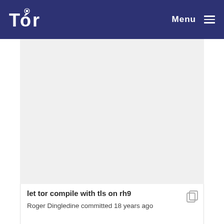Tor — Menu
[Figure (other): Large blank/gray content area below the Tor navigation header, representing a webpage screenshot with empty main content area]
let tor compile with tls on rh9
Roger Dingledine committed 18 years ago